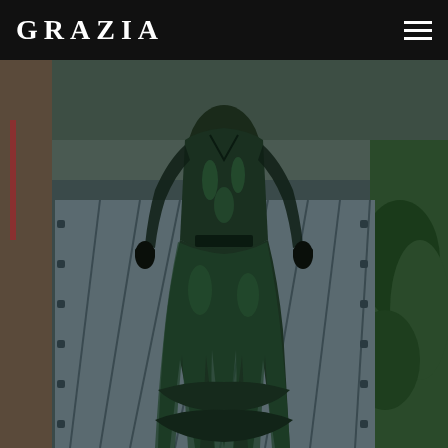GRAZIA
[Figure (photo): Fashion runway photo of a model wearing a dark green sheer floor-length gown with black lace trim and ruffled layers, walking on a grey runway with greenery on the sides. The background shows an outdoor industrial-style venue.]